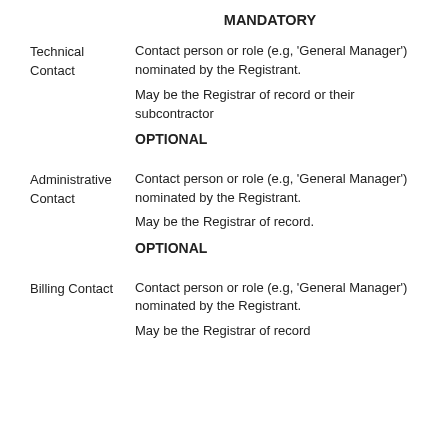MANDATORY
Technical Contact — Contact person or role (e.g, ‘General Manager’) nominated by the Registrant. May be the Registrar of record or their subcontractor
OPTIONAL
Administrative Contact — Contact person or role (e.g, ‘General Manager’) nominated by the Registrant. May be the Registrar of record.
OPTIONAL
Billing Contact — Contact person or role (e.g, ‘General Manager’) nominated by the Registrant. May be the Registrar of record